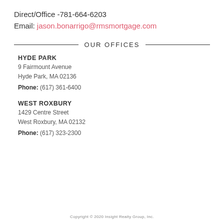Direct/Office -781-664-6203
Email: jason.bonarrigo@rmsmortgage.com
OUR OFFICES
HYDE PARK
9 Fairmount Avenue
Hyde Park, MA 02136
Phone: (617) 361-6400
WEST ROXBURY
1429 Centre Street
West Roxbury, MA 02132
Phone: (617) 323-2300
Copyright © 2020 Insight Realty Group, Inc.